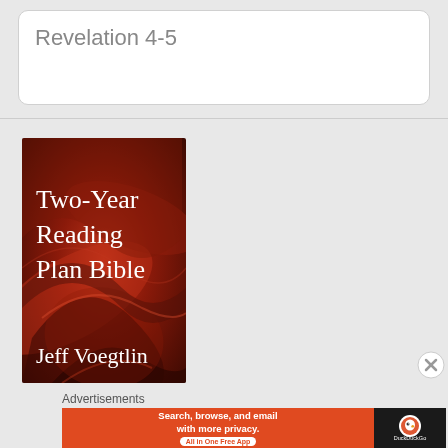Revelation 4-5
[Figure (illustration): Book cover for 'Two-Year Reading Plan Bible' by Jeff Voegtlin. Red and dark marbled swirling background with white serif text showing the title and author name.]
Advertisements
[Figure (screenshot): DuckDuckGo advertisement banner with orange background. Text reads 'Search, browse, and email with more privacy. All in One Free App' with DuckDuckGo logo on dark right panel.]